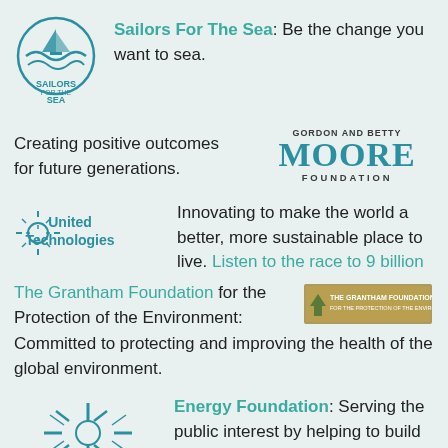[Figure (logo): Sailors For The Sea logo - circular design with waves and text]
Sailors For The Sea: Be the change you want to sea.
Creating positive outcomes for future generations.
[Figure (logo): Gordon and Betty Moore Foundation logo]
[Figure (logo): United Technologies logo]
Innovating to make the world a better, more sustainable place to live. Listen to the race to 9 billion
The Grantham Foundation for the Protection of the Environment:
[Figure (logo): The Grantham Foundation logo with tree]
Committed to protecting and improving the health of the global environment.
[Figure (logo): Energy Foundation logo with starburst and text]
Energy Foundation: Serving the public interest by helping to build a strong, clean energy economy.